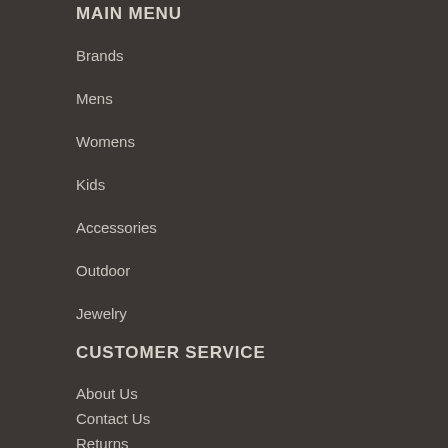MAIN MENU
Brands
Mens
Womens
Kids
Accessories
Outdoor
Jewelry
CUSTOMER SERVICE
About Us
Contact Us
Returns
Shipping Rates
Size Chart